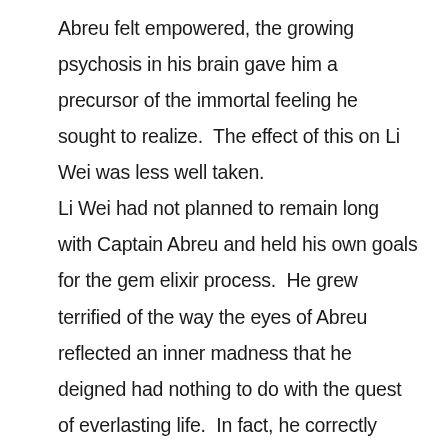Abreu felt empowered, the growing psychosis in his brain gave him a precursor of the immortal feeling he sought to realize.  The effect of this on Li Wei was less well taken. Li Wei had not planned to remain long with Captain Abreu and held his own goals for the gem elixir process.  He grew terrified of the way the eyes of Abreu reflected an inner madness that he deigned had nothing to do with the quest of everlasting life.  In fact, he correctly surmised that Abreu was on the way into full thanatic darkness from